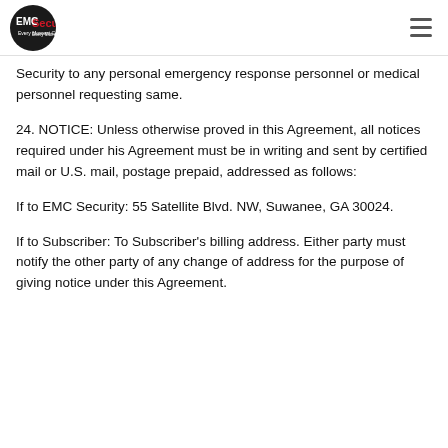EMC Security logo and navigation menu
Security to any personal emergency response personnel or medical personnel requesting same.
24. NOTICE: Unless otherwise proved in this Agreement, all notices required under his Agreement must be in writing and sent by certified mail or U.S. mail, postage prepaid, addressed as follows:
If to EMC Security: 55 Satellite Blvd. NW, Suwanee, GA 30024.
If to Subscriber: To Subscriber's billing address. Either party must notify the other party of any change of address for the purpose of giving notice under this Agreement.